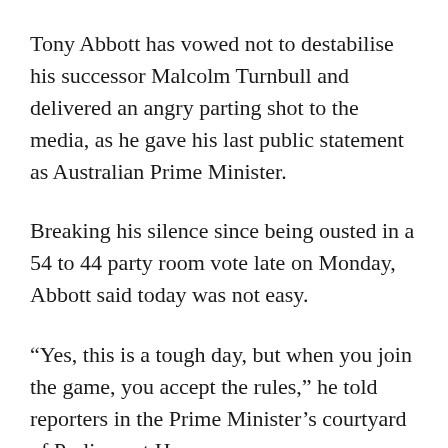Tony Abbott has vowed not to destabilise his successor Malcolm Turnbull and delivered an angry parting shot to the media, as he gave his last public statement as Australian Prime Minister.
Breaking his silence since being ousted in a 54 to 44 party room vote late on Monday, Abbott said today was not easy.
“Yes, this is a tough day, but when you join the game, you accept the rules,” he told reporters in the Prime Minister’s courtyard of Parliament House.